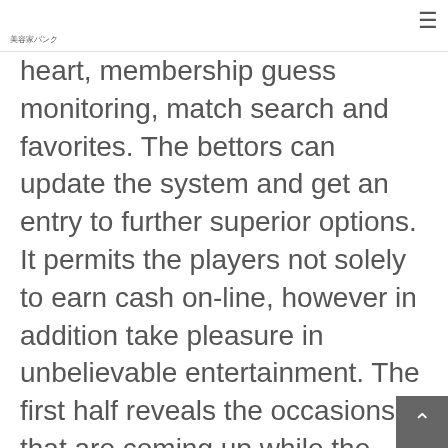美容家バンク
heart, membership guess monitoring, match search and favorites. The bettors can update the system and get an entry to further superior options. It permits the players not solely to earn cash on-line, however in addition take pleasure in unbelievable entertainment. The first half reveals the occasions that are coming up while the opposite part displays keep and ongoing events. Sporting events are usually separated into different categories, although you would possibly view all of them on the same time.